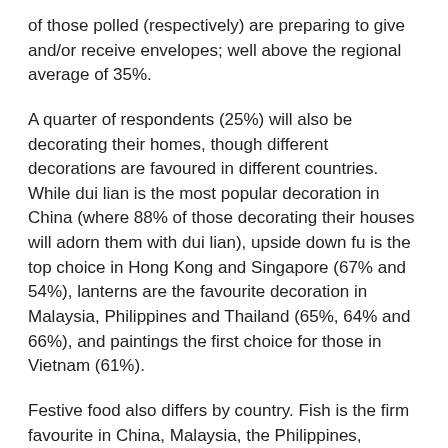of those polled (respectively) are preparing to give and/or receive envelopes; well above the regional average of 35%.
A quarter of respondents (25%) will also be decorating their homes, though different decorations are favoured in different countries. While dui lian is the most popular decoration in China (where 88% of those decorating their houses will adorn them with dui lian), upside down fu is the top choice in Hong Kong and Singapore (67% and 54%), lanterns are the favourite decoration in Malaysia, Philippines and Thailand (65%, 64% and 66%), and paintings the first choice for those in Vietnam (61%).
Festive food also differs by country. Fish is the firm favourite in China, Malaysia, the Philippines, Singapore and Thailand, where 89%, 85%, 72%, 87% and 79% (respectively) will be tucking into some fish. In Hong Kong, more residents will be eating turnip cakes (78%), and in Vietnam it's pork (80%). However, tastes converged